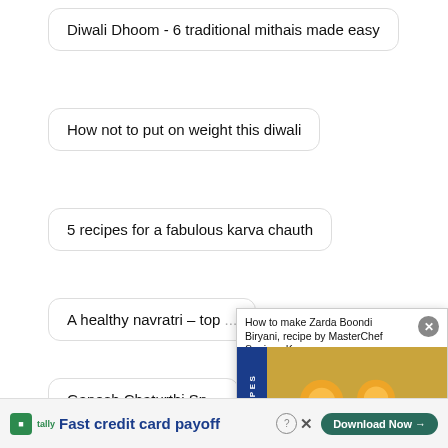Diwali Dhoom - 6 traditional mithais made easy
How not to put on weight this diwali
5 recipes for a fabulous karva chauth
A healthy navratri – top [...]
Ganesh Chaturthi Sp[...]
Janmashtami
9 [...]
Mus[...]
[Figure (photo): Featured recipe overlay showing Zarda Boondi Biryani in a bowl with orange slices and cream garnish, with blue vertical 'FEATURED RECIPES' sidebar label]
How to make Zarda Boondi Biryani, recipe by MasterChef Sanjeev Kapoor
How to make Zarda Boondi Biryani, recipe by MasterChef Sanjeev Kapoor
[Figure (screenshot): Tally ad banner: Fast credit card payoff with Download Now button]